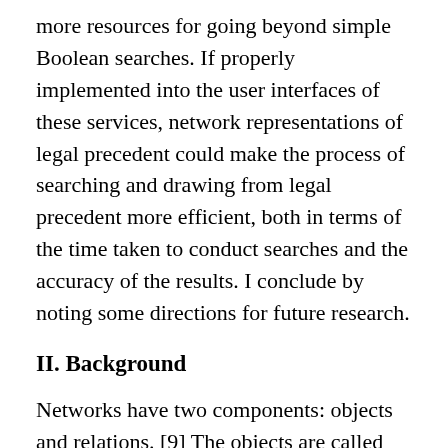more resources for going beyond simple Boolean searches. If properly implemented into the user interfaces of these services, network representations of legal precedent could make the process of searching and drawing from legal precedent more efficient, both in terms of the time taken to conduct searches and the accuracy of the results. I conclude by noting some directions for future research.
II. Background
Networks have two components: objects and relations. [9] The objects are called nodes and the relations between those objects are edges or vertices.[10] In the network represented in Figure 1, the nodes are the numbered entities (1–10) and the edges are the lines connecting those entities. Not all edges are equal. If, for example, we represented a friendship network, it would